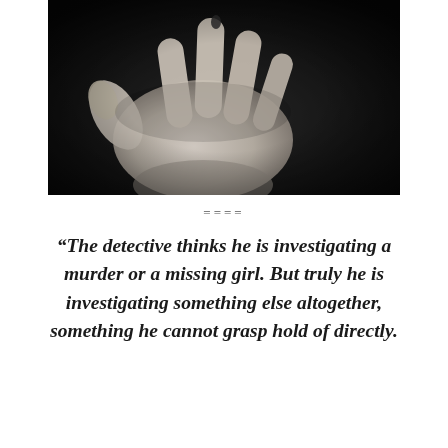[Figure (photo): Black and white close-up photograph of an outstretched open hand with fingers spread, shot from above against a dark background.]
====
“The detective thinks he is investigating a murder or a missing girl. But truly he is investigating something else altogether, something he cannot grasp hold of directly.